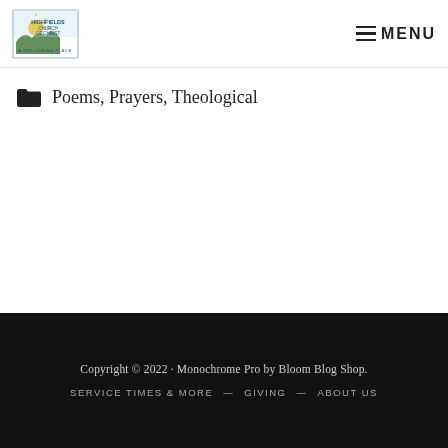[Figure (logo): Highfields Church of Christ logo with sun/landscape graphic and text 'A Welcoming Place']
≡ MENU
Poems, Prayers, Theological
Copyright © 2022 · Monochrome Pro by Bloom Blog Shop.
SERVICE TIMES & MORE — GIVING — ABOUT US